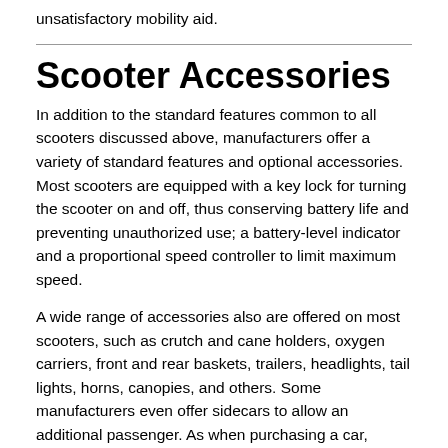unsatisfactory mobility aid.
Scooter Accessories
In addition to the standard features common to all scooters discussed above, manufacturers offer a variety of standard features and optional accessories. Most scooters are equipped with a key lock for turning the scooter on and off, thus conserving battery life and preventing unauthorized use; a battery-level indicator and a proportional speed controller to limit maximum speed.
A wide range of accessories also are offered on most scooters, such as crutch and cane holders, oxygen carriers, front and rear baskets, trailers, headlights, tail lights, horns, canopies, and others. Some manufacturers even offer sidecars to allow an additional passenger. As when purchasing a car, options and additional features increase the base cost of the unit, but accessories should be evaluated in light of their capacity to create a mobility aid which provides maximum user independence. At the same time, it should be kept in mind that